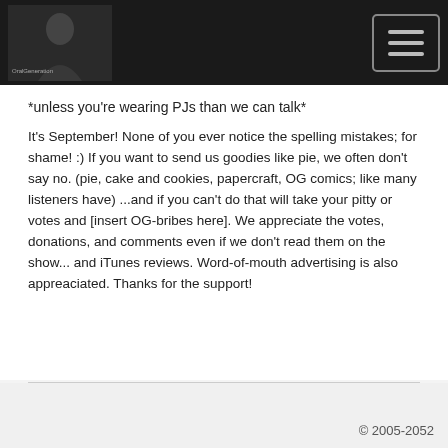OralGeneration [logo and hamburger menu]
*unless you're wearing PJs than we can talk*
It's September! None of you ever notice the spelling mistakes; for shame! :) If you want to send us goodies like pie, we often don't say no. (pie, cake and cookies, papercraft, OG comics; like many listeners have) ...and if you can't do that will take your pitty or votes and [insert OG-bribes here]. We appreciate the votes, donations, and comments even if we don't read them on the show... and iTunes reviews. Word-of-mouth advertising is also appreaciated. Thanks for the support!
© 2005-2052